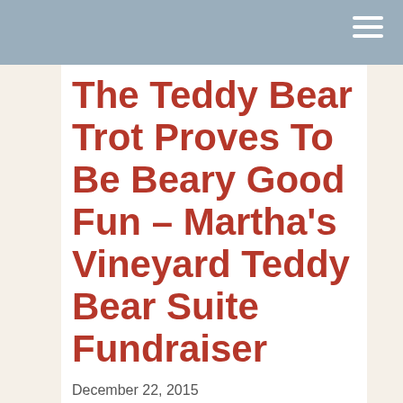The Teddy Bear Trot Proves To Be Beary Good Fun – Martha's Vineyard Teddy Bear Suite Fundraiser
December 22, 2015
Guinevere Cramer
Leave a comment
Early Sunday morning, 50 runners/walkers lined up in front of the